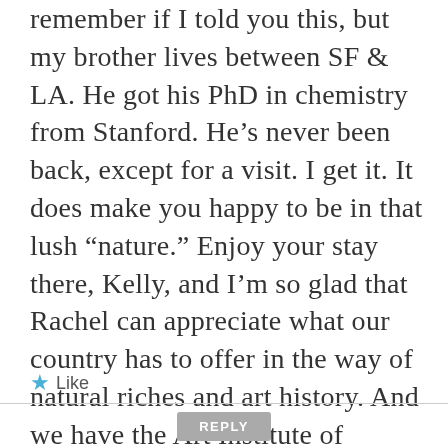remember if I told you this, but my brother lives between SF & LA. He got his PhD in chemistry from Stanford. He's never been back, except for a visit. I get it. It does make you happy to be in that lush “nature.” Enjoy your stay there, Kelly, and I’m so glad that Rachel can appreciate what our country has to offer in the way of natural riches and art history. And we have the Art Institute of Chicago, which just got named best museum of the world by Trip Advisor.
★ Like
REPLY